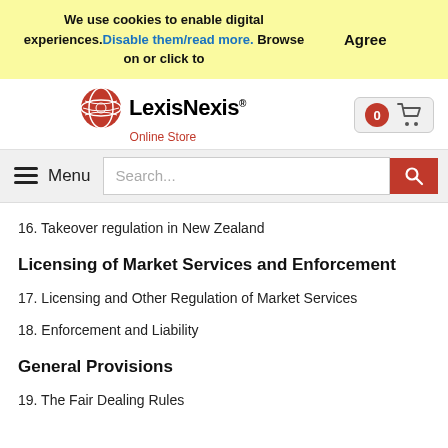We use cookies to enable digital experiences. Disable them/read more. Browse on or click to   Agree
[Figure (logo): LexisNexis Online Store logo with red globe icon]
[Figure (other): Shopping cart icon with 0 badge]
≡ Menu  Search...  🔍
16. Takeover regulation in New Zealand
Licensing of Market Services and Enforcement
17. Licensing and Other Regulation of Market Services
18. Enforcement and Liability
General Provisions
19. The Fair Dealing Rules